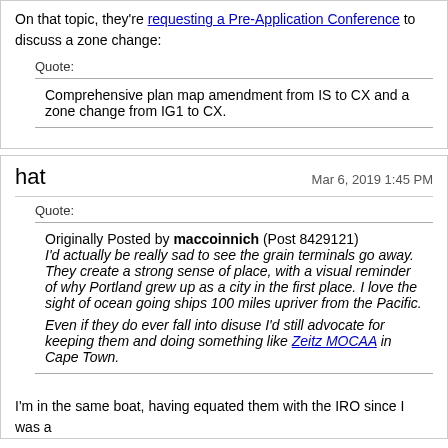On that topic, they're requesting a Pre-Application Conference to discuss a zone change:
Quote:
Comprehensive plan map amendment from IS to CX and a zone change from IG1 to CX.
hat
Mar 6, 2019 1:45 PM
Quote:
Originally Posted by maccoinnich (Post 8429121) I'd actually be really sad to see the grain terminals go away. They create a strong sense of place, with a visual reminder of why Portland grew up as a city in the first place. I love the sight of ocean going ships 100 miles upriver from the Pacific. Even if they do ever fall into disuse I'd still advocate for keeping them and doing something like Zeitz MOCAA in Cape Town.
I'm in the same boat, having equated them with the IRO since I was a